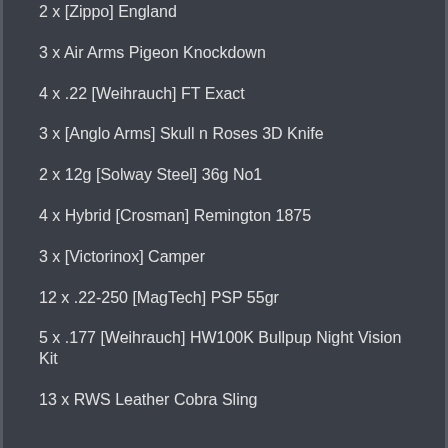2 x [Zippo] England
3 x Air Arms Pigeon Knockdown
4 x .22 [Weihrauch] FT Exact
3 x [Anglo Arms] Skull n Roses 3D Knife
2 x 12g [Solway Steel] 36g No1
4 x Hybrid [Crosman] Remington 1875
3 x [Victorinox] Camper
12 x .22-250 [MagTech] PSP 55gr
5 x .177 [Weihrauch] HW100K Bullpup Night Vision Kit
13 x RWS Leather Cobra Sling